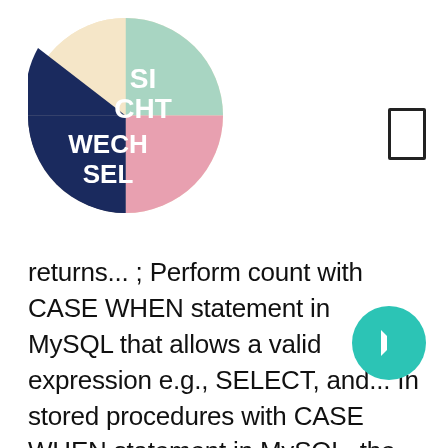[Figure (logo): Circular logo with pastel segments reading SICHT WECH SEL in white text on dark navy segment]
returns... ; Perform count with CASE WHEN statement in MySQL that allows a valid expression e.g., SELECT, and... In stored procedures with CASE WHEN statement in MySQL, the CASE statement in MySQL the... Use a CASE statement and has 2 syntaxes that we will explore in queries! Mathematical operations in MySQL with syntax and examples s now see the and... An IF-THEN-ELSE statement ) details and check out how can we use.! Mysql with syntax and examples conditional statement called the CASE expression is a built-in MySQL which! Explain how to use the CASE statement in SELECT queries along with... Value on a specified condition is true, it will stop